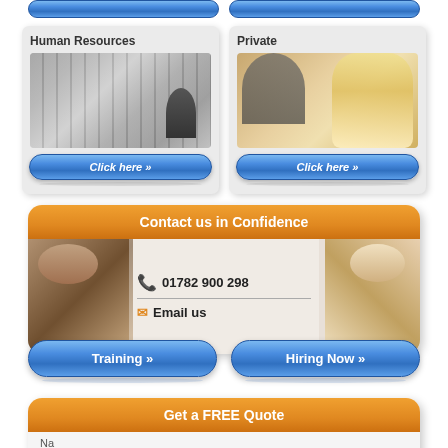[Figure (screenshot): Two category cards: Human Resources (with image of file shelves/person) and Private (with image of couple), each with a 'Click here »' blue button]
[Figure (infographic): Contact us in Confidence box with orange header, phone number 01782 900 298, email us link, and two person images on sides]
[Figure (screenshot): Two blue buttons: Training » and Hiring Now »]
[Figure (infographic): Get a FREE Quote orange header box, partially visible]